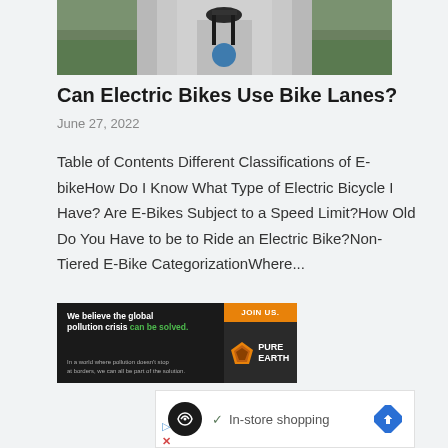[Figure (photo): Top-down view of an electric bike on a road/path, shot from above showing the handlebar area]
Can Electric Bikes Use Bike Lanes?
June 27, 2022
Table of Contents Different Classifications of E-bikeHow Do I Know What Type of Electric Bicycle I Have? Are E-Bikes Subject to a Speed Limit?How Old Do You Have to be to Ride an Electric Bike?Non-Tiered E-Bike CategorizationWhere...
[Figure (infographic): Pure Earth advertisement banner — black left section with text 'We believe the global pollution crisis can be solved. In a world where pollution doesn't stop at borders, we can all be part of the solution.' and right dark section with orange JOIN US. bar and Pure Earth diamond logo]
[Figure (screenshot): Google ad unit showing a circular dark icon with infinity-like symbol, a checkmark and 'In-store shopping' text, and a blue diamond navigation arrow on the right]